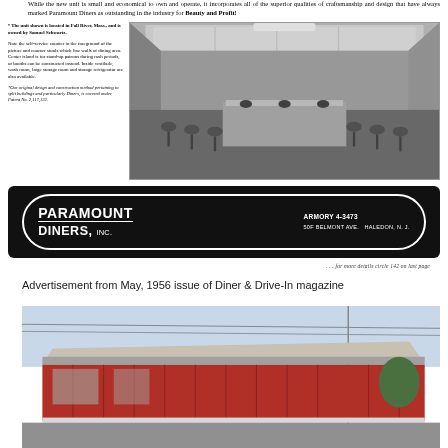While the new unit is small and economical to own and operate, it incorporates all of the superior qualities of craftsmanship and design that have always marked Paramount Diners as outstanding in the industry for Beauty and Profit!
The unit shown is located in Fall River, Mass., and is owned by Samuel Schwartz.

Note the self-service counter in the foreground of the picture and counter stools which line walls of dining area. Center island is for stand-up patrons during rush periods, or booths can be constructed instead. Inside vestibule, wash room, large storage room and storage refrigerator are also available.

*Our original design and construction method pertaining to split buildings and particularly Diners, is covered under Patent No. 2,117,122.
[Figure (photo): Black and white interior photograph of a Paramount Diner showing counter stools lining the walls and a center island.]
[Figure (photo): Black and white advertisement banner for Paramount Diners, Inc. with company name in bold letters on dark background.]
. . . for more details circle 142 on last page
Advertisement from May, 1956 issue of Diner & Drive-In magazine
[Figure (photo): Color exterior photograph of a Paramount Diner building showing red siding and flat roof with overhang.]